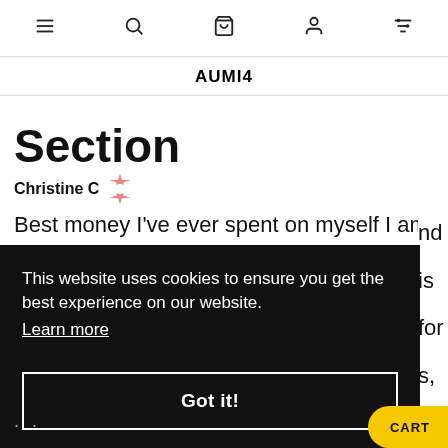Navigation bar with menu, search, cart, account, filter icons
AUMI4
Section
Christine C
Best money I've ever spent on myself I am not a purse girl. I'm not a "gotta have the new iconic thing" girl. I'm a girl who likes unique statement pieces, for ...s,
This website uses cookies to ensure you get the best experience on our website. Learn more
Got it!